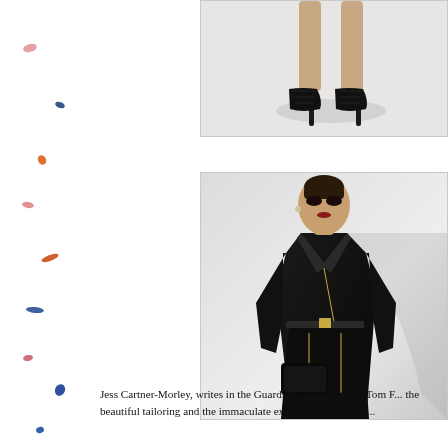[Figure (photo): Fashion photo showing strappy black heeled sandals against a light gray/white background, cropped to show legs and feet only]
[Figure (photo): Fashion photo of a female model wearing an all-black leather outfit consisting of a motorcycle jacket, bodycon skirt, and carrying a black clutch. She has slicked-back blonde hair and dark makeup, posed against a light gray background.]
Jess Cartner-Morley, writes in the Guardian: "I didn't think Tom F... the beautiful tailoring and the immaculate execution it fell a litt...